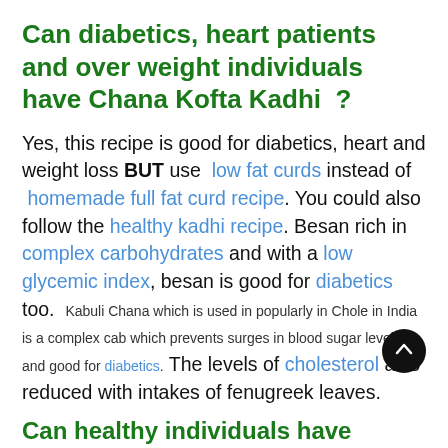Can diabetics, heart patients and over weight individuals have Chana Kofta Kadhi ?
Yes, this recipe is good for diabetics, heart and weight loss BUT use low fat curds instead of homemade full fat curd recipe. You could also follow the healthy kadhi recipe. Besan rich in complex carbohydrates and with a low glycemic index, besan is good for diabetics too. Kabuli Chana which is used in popularly in Chole in India is a complex cab which prevents surges in blood sugar levels and good for diabetics. The levels of cholesterol also reduced with intakes of fenugreek leaves.
Can healthy individuals have Chana Kofta